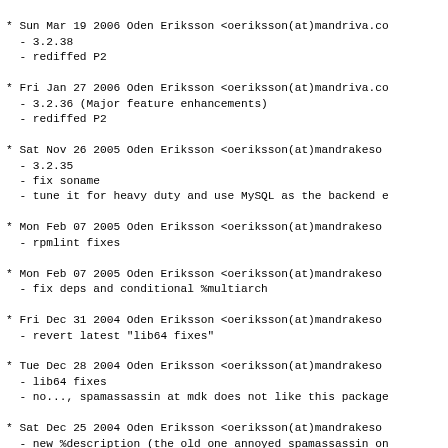* Sun Mar 19 2006 Oden Eriksson <oeriksson(at)mandriva.co
  - 3.2.38
  - rediffed P2
* Fri Jan 27 2006 Oden Eriksson <oeriksson(at)mandriva.co
  - 3.2.36 (Major feature enhancements)
  - rediffed P2
* Sat Nov 26 2005 Oden Eriksson <oeriksson(at)mandrakeso
  - 3.2.35
  - fix soname
  - tune it for heavy duty and use MySQL as the backend e
* Mon Feb 07 2005 Oden Eriksson <oeriksson(at)mandrakeso
  - rpmlint fixes
* Mon Feb 07 2005 Oden Eriksson <oeriksson(at)mandrakeso
  - fix deps and conditional %multiarch
* Fri Dec 31 2004 Oden Eriksson <oeriksson(at)mandrakeso
  - revert latest "lib64 fixes"
* Tue Dec 28 2004 Oden Eriksson <oeriksson(at)mandrakeso
  - lib64 fixes
  - no..., spamassassin at mdk does not like this package
* Sat Dec 25 2004 Oden Eriksson <oeriksson(at)mandrakeso
  - new %description (the old one annoyed spamassassin on
* Sat Dec 25 2004 Oden Eriksson <oeriksson(at)mandrakeso
  - 3.2.29
* Fri Dec 17 2004 Oden Eriksson <oeriksson(at)mandrakeso
  - 3.2.28
* Sun Dec 05 2004 Oden Eriksson <oeriksson(at)mandrakeso
  - 3.2.26
* Wed Nov 24 2004 Oden Eriksson <oeriksson(at)mandrakeso
  - nuke redundant provides
  - fix deps